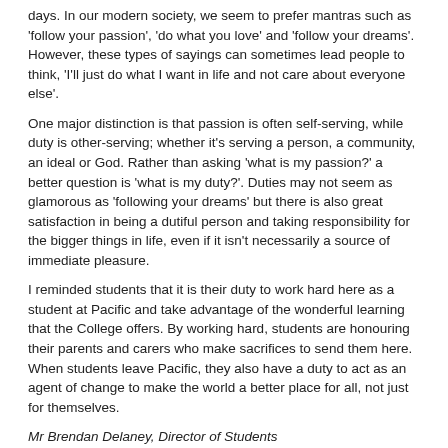days. In our modern society, we seem to prefer mantras such as 'follow your passion', 'do what you love' and 'follow your dreams'. However, these types of sayings can sometimes lead people to think, 'I'll just do what I want in life and not care about everyone else'.
One major distinction is that passion is often self-serving, while duty is other-serving; whether it's serving a person, a community, an ideal or God. Rather than asking 'what is my passion?' a better question is 'what is my duty?'. Duties may not seem as glamorous as 'following your dreams' but there is also great satisfaction in being a dutiful person and taking responsibility for the bigger things in life, even if it isn't necessarily a source of immediate pleasure.
I reminded students that it is their duty to work hard here as a student at Pacific and take advantage of the wonderful learning that the College offers. By working hard, students are honouring their parents and carers who make sacrifices to send them here. When students leave Pacific, they also have a duty to act as an agent of change to make the world a better place for all, not just for themselves.
Mr Brendan Delaney, Director of Students